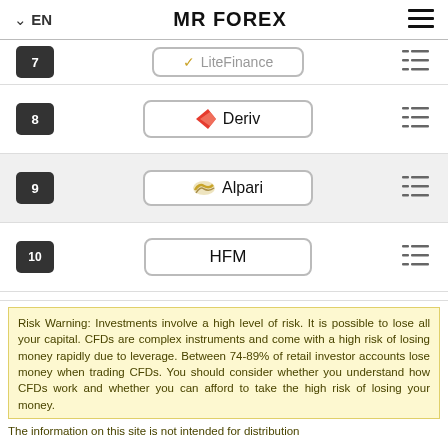EN  MR FOREX  ≡
7  LiteFinance
8  Deriv
9  Alpari
10  HFM
Risk Warning: Investments involve a high level of risk. It is possible to lose all your capital. CFDs are complex instruments and come with a high risk of losing money rapidly due to leverage. Between 74-89% of retail investor accounts lose money when trading CFDs. You should consider whether you understand how CFDs work and whether you can afford to take the high risk of losing your money.
The information on this site is not intended for distribution